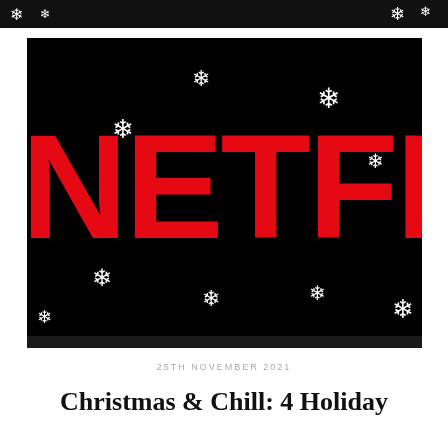[Figure (illustration): Netflix logo in red text on a black background with white snowflakes scattered around the image, giving a Christmas/holiday theme. The word NETFLIX appears in large red bold letters with decorative snowflake graphics around it.]
25TH NOVEMBER 2021
Christmas & Chill: 4 Holiday